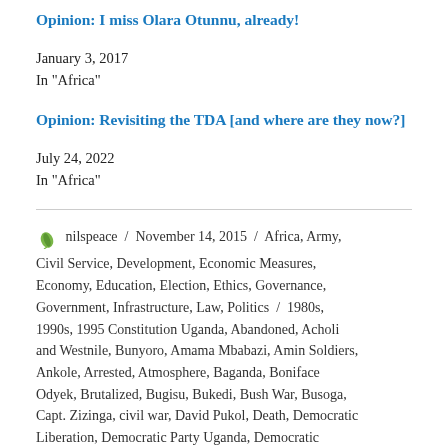Opinion: I miss Olara Otunnu, already!
January 3, 2017
In "Africa"
Opinion: Revisiting the TDA [and where are they now?]
July 24, 2022
In "Africa"
nilspeace / November 14, 2015 / Africa, Army, Civil Service, Development, Economic Measures, Economy, Education, Election, Ethics, Governance, Government, Infrastructure, Law, Politics / 1980s, 1990s, 1995 Constitution Uganda, Abandoned, Acholi and Westnile, Bunyoro, Amama Mbabazi, Amin Soldiers, Ankole, Arrested, Atmosphere, Baganda, Boniface Odyek, Brutalized, Bugisu, Bukedi, Bush War, Busoga, Capt. Zizinga, civil war, David Pukol, Death, Democratic Liberation, Democratic Party Uganda, Democratic Republic of Congo, Detained, Dismantle, DP, Dr Kwame